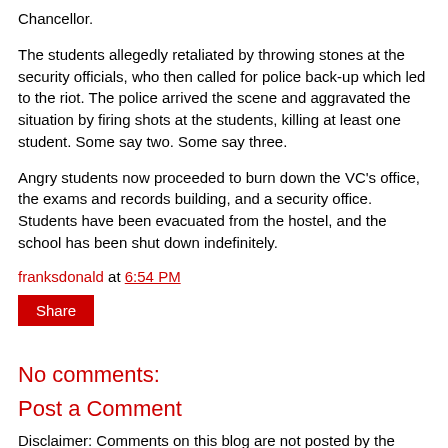Chancellor.
The students allegedly retaliated by throwing stones at the security officials, who then called for police back-up which led to the riot. The police arrived the scene and aggravated the situation by firing shots at the students, killing at least one student. Some say two. Some say three.
Angry students now proceeded to burn down the VC's office, the exams and records building, and a security office. Students have been evacuated from the hostel, and the school has been shut down indefinitely.
franksdonald at 6:54 PM
Share
No comments:
Post a Comment
Disclaimer: Comments on this blog are not posted by the owner, therefore, the blog owner will not be liable